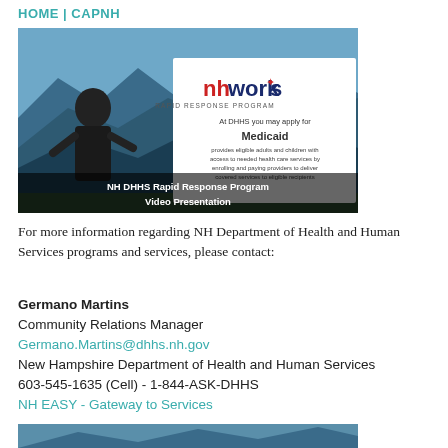HOME | CAPNH
[Figure (screenshot): Video thumbnail showing NH DHHS Rapid Response Program Video Presentation. Features a man presenting in front of a mountain landscape background, with a slide showing 'nhworks RAPID RESPONSE PROGRAM' and information about Medicaid. Text overlay: 'NH DHHS Rapid Response Program Video Presentation']
For more information regarding NH Department of Health and Human Services programs and services, please contact:
Germano Martins
Community Relations Manager
Germano.Martins@dhhs.nh.gov
New Hampshire Department of Health and Human Services
603-545-1635 (Cell) - 1-844-ASK-DHHS
NH EASY - Gateway to Services
[Figure (photo): Partial photo at bottom of page, cropped]